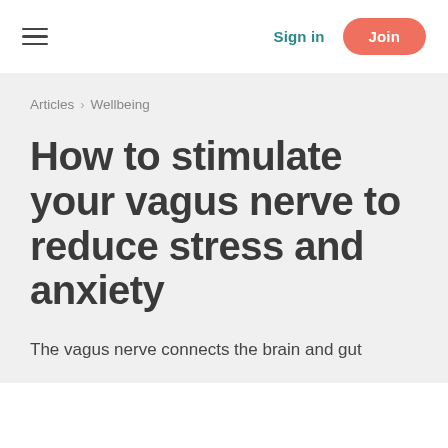☰   Sign in   Join
Articles > Wellbeing
How to stimulate your vagus nerve to reduce stress and anxiety
The vagus nerve connects the brain and gut